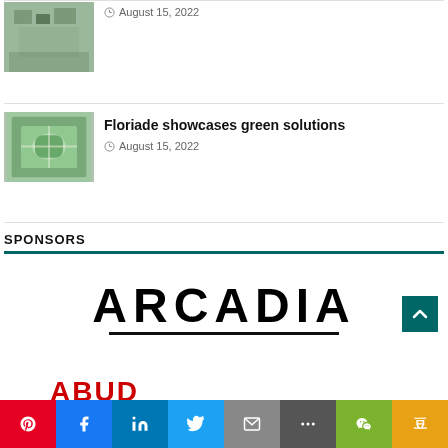[Figure (photo): Aerial view of buildings/development, partially visible at top]
August 15, 2022
[Figure (photo): Aerial view of a green garden/park layout, Floriade exhibition]
Floriade showcases green solutions
August 15, 2022
SPONSORS
[Figure (logo): ARCADIA logo in bold black uppercase letters with underline]
[Figure (logo): ABUD logo in red bold letters, partially visible]
Social sharing bar: Pinterest, Facebook, LinkedIn, Twitter, Email, More, WeChat, Douban